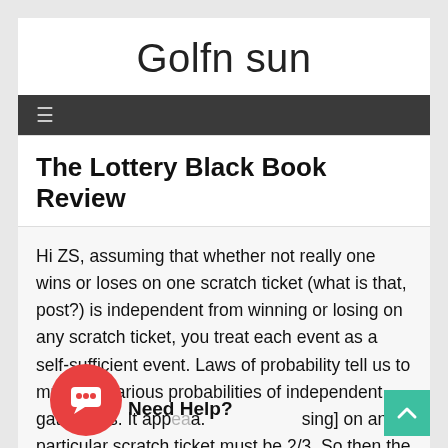Golfn sun
≡
The Lottery Black Book Review
Hi ZS, assuming that whether not really one wins or loses on one scratch ticket (what is that, post?) is independent from winning or losing on any scratch ticket, you treat each event as a self-sufficient event. Laws of probability tell us to multiply the various probabilities of independent gatherings. It appears that [losing] on any particular scratch ticket must be 2/3. So then the possibility of [losing] on 30 scratch tickets consecutively (if it is exactly what your